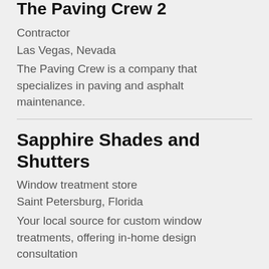The Paving Crew 2
Contractor
Las Vegas, Nevada
The Paving Crew is a company that specializes in paving and asphalt maintenance.
Sapphire Shades and Shutters
Window treatment store
Saint Petersburg, Florida
Your local source for custom window treatments, offering in-home design consultation
T...